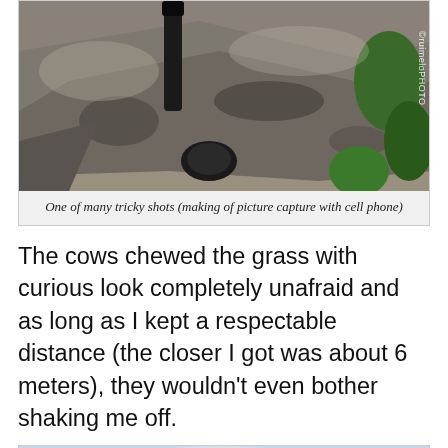[Figure (photo): Close-up photo of rocks and grass taken from above, with a monopod/pole visible in the frame. Watermark reading © ruimeloPHOTO visible on the right side.]
One of many tricky shots (making of picture capture with cell phone)
The cows chewed the grass with curious look completely unafraid and as long as I kept a respectable distance (the closer I got was about 6 meters), they wouldn't even bother shaking me off.
[Figure (photo): Mountainous landscape with cloudy sky, green hillsides and rocky peaks visible. Translate button overlay in bottom right.]